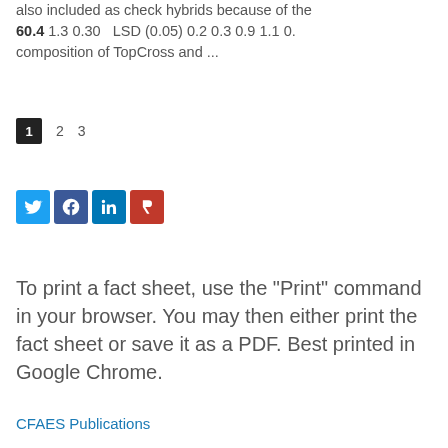also included as check hybrids because of the... 60.4 1.3 0.30  LSD (0.05) 0.2 0.3 0.9 1.1 0.... composition of TopCross and ...
1 2 3
[Figure (other): Social media share icons: Twitter, Facebook, LinkedIn, Readera]
To print a fact sheet, use the "Print" command in your browser. You may then either print the fact sheet or save it as a PDF. Best printed in Google Chrome.
CFAES Publications